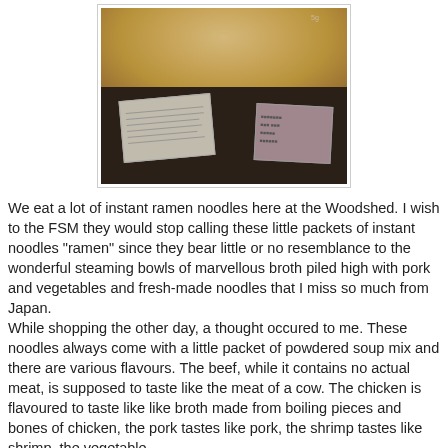[Figure (photo): Photo of instant ramen noodles with small seasoning packets visible below the noodles block, against a dark background.]
We eat a lot of instant ramen noodles here at the Woodshed. I wish to the FSM they would stop calling these little packets of instant noodles "ramen" since they bear little or no resemblance to the wonderful steaming bowls of marvellous broth piled high with pork and vegetables and fresh-made noodles that I miss so much from Japan.
While shopping the other day, a thought occured to me. These noodles always come with a little packet of powdered soup mix and there are various flavours. The beef, while it contains no actual meat, is supposed to taste like the meat of a cow. The chicken is flavoured to taste like like broth made from boiling pieces and bones of chicken, the pork tastes like pork, the shrimp tastes like shrimp, the vegetable